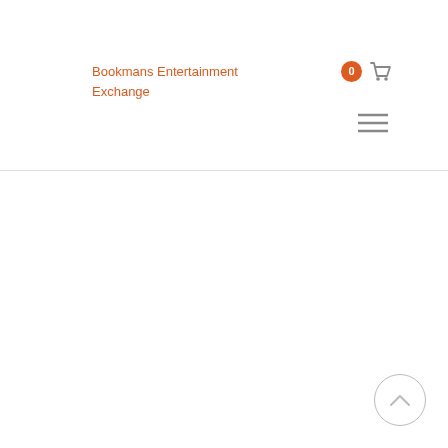[Figure (logo): Bookmans Entertainment Exchange logo alt text placeholder in orange text]
[Figure (other): Shopping cart icon with orange badge showing 0 items]
[Figure (other): Hamburger menu icon (three horizontal lines)]
[Figure (other): Accessibility icon on teal background in top right corner]
[Figure (other): Scroll to top button (chevron up in circle) at bottom right]